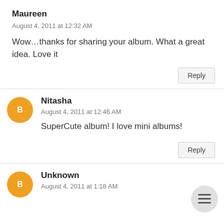Maureen
August 4, 2011 at 12:32 AM
Wow...thanks for sharing your album. What a great idea. Love it
Nitasha
August 4, 2011 at 12:46 AM
SuperCute album! I love mini albums!
Unknown
August 4, 2011 at 1:18 AM